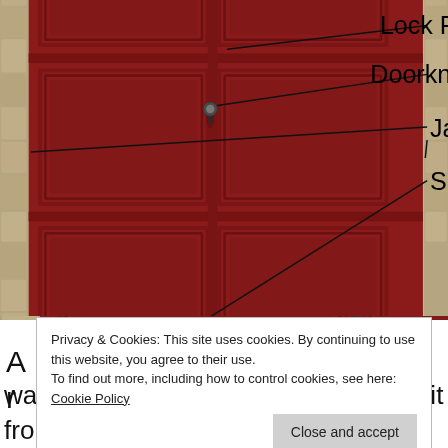[Figure (photo): A red painted wooden door with stone jambs, labeled with arrows pointing to: Stiles, Lock Rails, Doorknob, Jambs, Sill]
Privacy & Cookies: This site uses cookies. By continuing to use this website, you agree to their use.
To find out more, including how to control cookies, see here: Cookie Policy
[Close and accept button]
was possibly painted red, we bought it from a